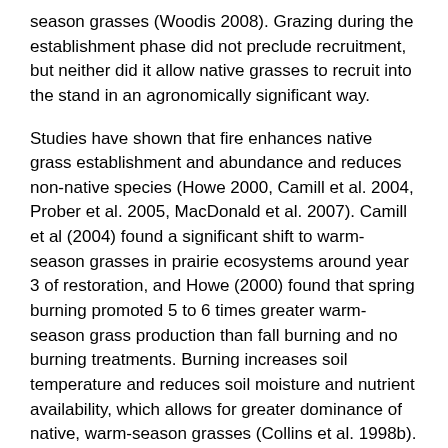season grasses (Woodis 2008). Grazing during the establishment phase did not preclude recruitment, but neither did it allow native grasses to recruit into the stand in an agronomically significant way.
Studies have shown that fire enhances native grass establishment and abundance and reduces non-native species (Howe 2000, Camill et al. 2004, Prober et al. 2005, MacDonald et al. 2007). Camill et al (2004) found a significant shift to warm-season grasses in prairie ecosystems around year 3 of restoration, and Howe (2000) found that spring burning promoted 5 to 6 times greater warm-season grass production than fall burning and no burning treatments. Burning increases soil temperature and reduces soil moisture and nutrient availability, which allows for greater dominance of native, warm-season grasses (Collins et al. 1998b). However, we observed no consistent effects of management on soil temperature or moisture for 2007. We did